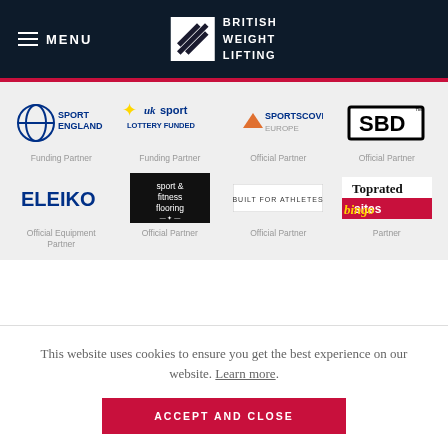MENU | BRITISH WEIGHT LIFTING
[Figure (logo): Sport England logo - Funding Partner]
[Figure (logo): UK Sport - Lottery Funded logo - Funding Partner]
[Figure (logo): Sportscover Europe logo - Official Partner]
[Figure (logo): SBD logo - Official Partner]
[Figure (logo): Eleiko logo - Official Equipment Partner]
[Figure (logo): Sport & Fitness Flooring logo - Official Partner]
[Figure (logo): Built For Athletes logo - Official Partner]
[Figure (logo): Toprated Bingo Sites logo - Partner]
This website uses cookies to ensure you get the best experience on our website. Learn more.
ACCEPT AND CLOSE